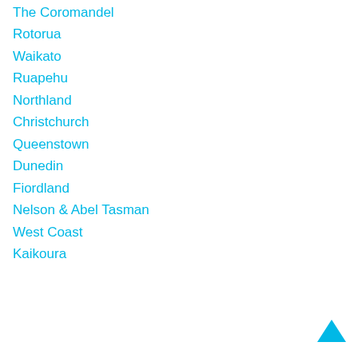The Coromandel
Rotorua
Waikato
Ruapehu
Northland
Christchurch
Queenstown
Dunedin
Fiordland
Nelson & Abel Tasman
West Coast
Kaikoura
[Figure (illustration): Cyan/blue upward-pointing triangle arrow in bottom-right corner]